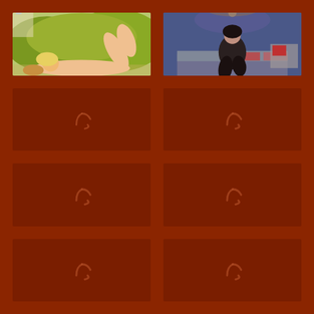[Figure (photo): Blonde woman lying outdoors in a garden/lawn setting with green bushes and architecture in the background]
[Figure (photo): Dark-haired woman sitting on a bed in a decorated blue bedroom with ornate gold chandelier]
[Figure (other): Loading placeholder with spinner icon on dark red background]
[Figure (other): Loading placeholder with spinner icon on dark red background]
[Figure (other): Loading placeholder with spinner icon on dark red background]
[Figure (other): Loading placeholder with spinner icon on dark red background]
[Figure (other): Loading placeholder with spinner icon on dark red background]
[Figure (other): Loading placeholder with spinner icon on dark red background]